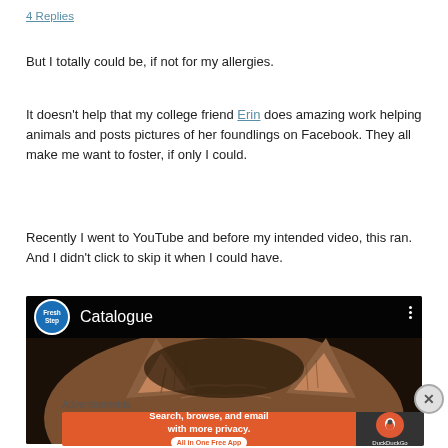4 Replies
But I totally could be, if not for my allergies.
It doesn't help that my college friend Erin does amazing work helping animals and posts pictures of her foundlings on Facebook. They all make me want to foster, if only I could.
Recently I went to YouTube and before my intended video, this ran. And I didn't click to skip it when I could have.
[Figure (screenshot): YouTube video thumbnail showing a Fresh Step cat litter advertisement titled 'Catalogue' with a close-up photo of a cat's face and ears on a dark background. The video player shows the Fresh Step logo (blue circle with white text) and three-dot menu icon.]
Advertisements
[Figure (screenshot): DuckDuckGo advertisement banner with orange background reading 'Search, browse, and email with more privacy. All in One Free App' with DuckDuckGo logo on a dark right panel.]